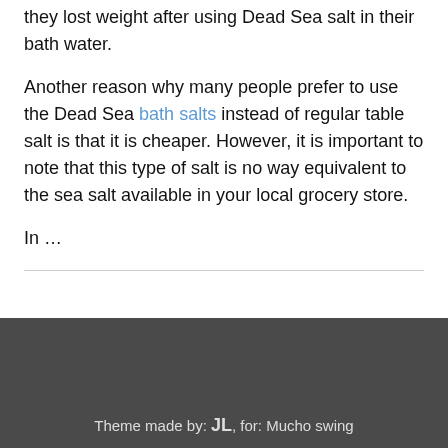they lost weight after using Dead Sea salt in their bath water.
Another reason why many people prefer to use the Dead Sea bath salts instead of regular table salt is that it is cheaper. However, it is important to note that this type of salt is no way equivalent to the sea salt available in your local grocery store.
In …
Theme made by: JL, for: Mucho swing